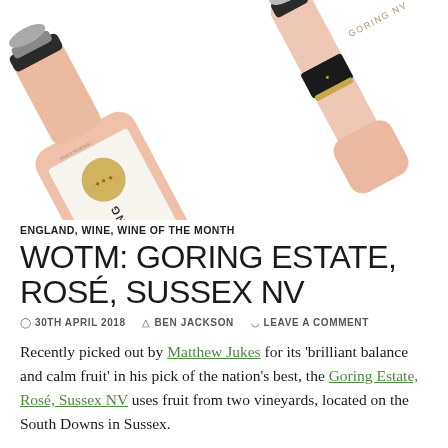[Figure (photo): Two Goring Estate rosé sparkling wine bottles arranged diagonally on a white background. One bottle shows the front label with 'GORING' text and a gold crest, salmon/pink colored bottle. The other shows the neck and foil with 'GORING NV' text.]
ENGLAND, WINE, WINE OF THE MONTH
WOTM: GORING ESTATE, ROSÉ, SUSSEX NV
30TH APRIL 2018  BEN JACKSON  LEAVE A COMMENT
Recently picked out by Matthew Jukes for its 'brilliant balance and calm fruit' in his pick of the nation's best, the Goring Estate, Rosé, Sussex NV uses fruit from two vineyards, located on the South Downs in Sussex.